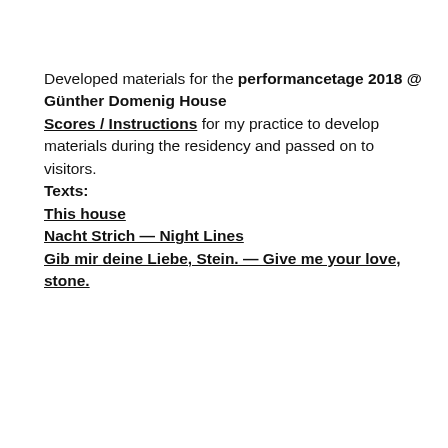Developed materials for the performancetage 2018 @ Günther Domenig House
Scores / Instructions for my practice to develop materials during the residency and passed on to visitors.
Texts:
This house
Nacht Strich — Night Lines
Gib mir deine Liebe, Stein. — Give me your love, stone.